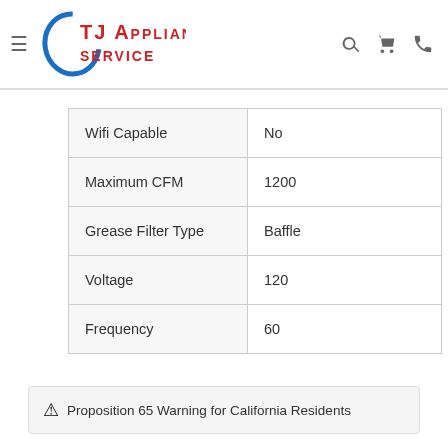TJ Appliance Service
| Specification | Value |
| --- | --- |
| Wifi Capable | No |
| Maximum CFM | 1200 |
| Grease Filter Type | Baffle |
| Voltage | 120 |
| Frequency | 60 |
⚠ Proposition 65 Warning for California Residents